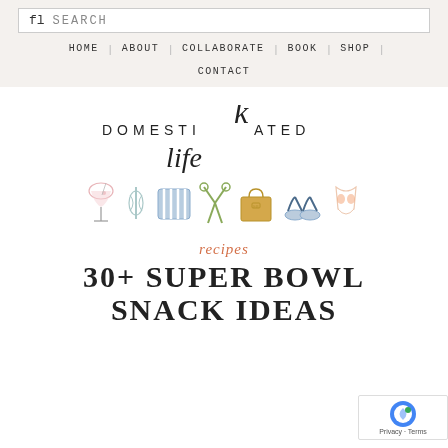fl SEARCH
HOME | ABOUT | COLLABORATE | BOOK | SHOP | CONTACT
[Figure (logo): Domestikated Life logo with script 'life' text and row of lifestyle icons (cocktail glass, whisk, striped cushion, scissors, tote bag, sandals, children's swimsuit)]
recipes
30+ SUPER BOWL SNACK IDEAS